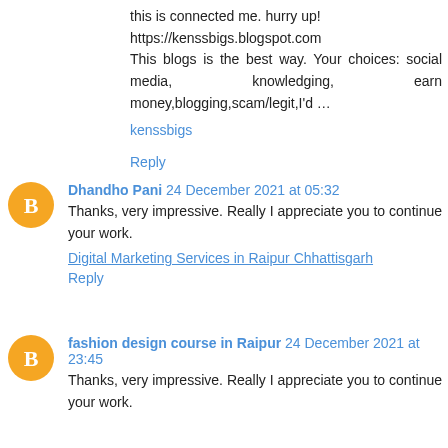this is connected me. hurry up!
https://kenssbigs.blogspot.com
This blogs is the best way. Your choices: social media, knowledging, earn money,blogging,scam/legit,I'd …
kenssbigs
Reply
Dhandho Pani 24 December 2021 at 05:32
Thanks, very impressive. Really I appreciate you to continue your work.
Digital Marketing Services in Raipur Chhattisgarh
Reply
fashion design course in Raipur 24 December 2021 at 23:45
Thanks, very impressive. Really I appreciate you to continue your work.